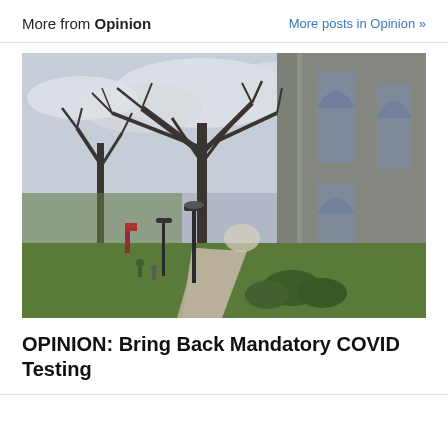More from Opinion
More posts in Opinion »
[Figure (photo): Campus walkway beside a Gothic stone building. Bare trees with spreading branches against a partly cloudy sky. Lamp posts line the path. Green lawn and shrubs visible. Two distant figures walking on the path.]
OPINION: Bring Back Mandatory COVID Testing